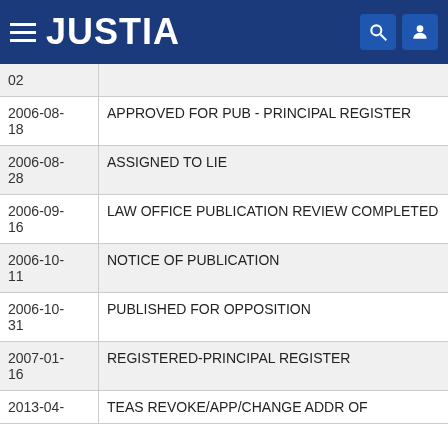JUSTIA
| Date | Event |
| --- | --- |
| 02 |  |
| 2006-08-18 | APPROVED FOR PUB - PRINCIPAL REGISTER |
| 2006-08-28 | ASSIGNED TO LIE |
| 2006-09-16 | LAW OFFICE PUBLICATION REVIEW COMPLETED |
| 2006-10-11 | NOTICE OF PUBLICATION |
| 2006-10-31 | PUBLISHED FOR OPPOSITION |
| 2007-01-16 | REGISTERED-PRINCIPAL REGISTER |
| 2013-04- | TEAS REVOKE/APP/CHANGE ADDR OF |